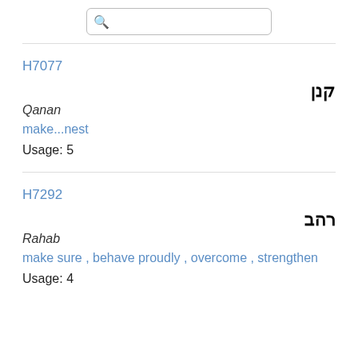[Figure (other): Search bar with magnifying glass icon and ALL button]
H7077
קנן
Qanan
make...nest
Usage: 5
H7292
רהב
Rahab
make sure , behave proudly , overcome , strengthen
Usage: 4